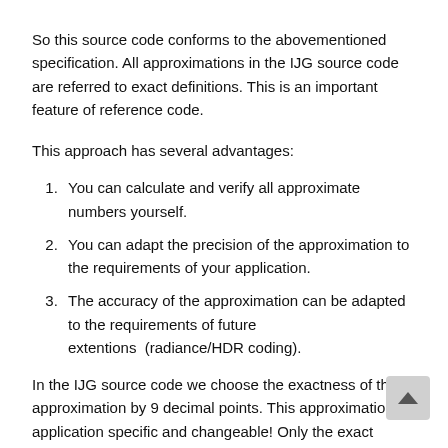So this source code conforms to the abovementioned specification. All approximations in the IJG source code are referred to exact definitions. This is an important feature of reference code.
This approach has several advantages:
You can calculate and verify all approximate numbers yourself.
You can adapt the precision of the approximation to the requirements of your application.
The accuracy of the approximation can be adapted to the requirements of future extentions  (radiance/HDR coding).
In the IJG source code we choose the exactness of the approximation by 9 decimal points. This approximation is application specific and changeable! Only the exact values are substantial and sustained! Therefore the original JPEG standard